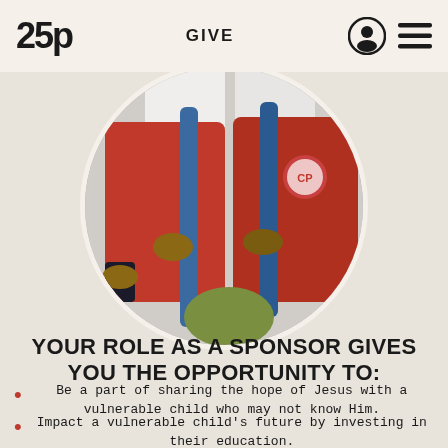25p  GIVE
[Figure (photo): Circular cropped photo of children wearing red school sweaters holding blue straps, seen from chest level]
YOUR ROLE AS A SPONSOR GIVES YOU THE OPPORTUNITY TO:
Be a part of sharing the hope of Jesus with a vulnerable child who may not know Him.
Impact a vulnerable child's future by investing in their education.
Get to know the child you support by exchanging letters with them.